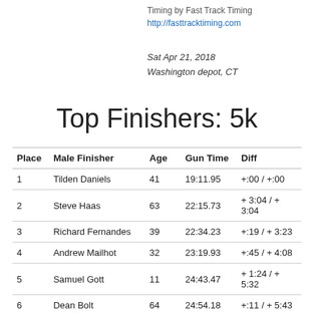Timing by Fast Track Timing
http://fasttracktiming.com
Sat Apr 21, 2018
Washington depot, CT
Top Finishers: 5k
| Place | Male Finisher | Age | Gun Time | Diff |
| --- | --- | --- | --- | --- |
| 1 | Tilden Daniels | 41 | 19:11.95 | +:00 / +:00 |
| 2 | Steve Haas | 63 | 22:15.73 | + 3:04 / + 3:04 |
| 3 | Richard Fernandes | 39 | 22:34.23 | +:19 / + 3:23 |
| 4 | Andrew Mailhot | 32 | 23:19.93 | +:45 / + 4:08 |
| 5 | Samuel Gott | 11 | 24:43.47 | + 1:24 / + 5:32 |
| 6 | Dean Bolt | 64 | 24:54.18 | +:11 / + 5:43 |
| 7 | Kyle McCarron | 11 | 25:17.42 | +:23 / + 6:06 |
| 8 | Bob McCarron | 51 | 25:23.92 | +:06 / + 6:12 |
| 9 | David Dodge | 59 | 25:52.31 | +:29 / + 6:42 |